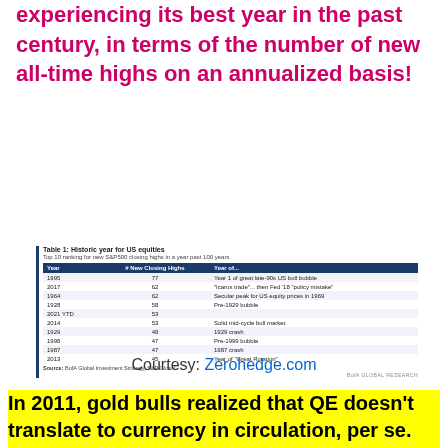experiencing its best year in the past century, in terms of the number of new all-time highs on an annualized basis!
| Year | # New Closing Highs | Year of... |
| --- | --- | --- |
| 1995 | 77 | Year 1 of great late-90s US bull bubble |
| 2017 | 62 | "Icarus trade"... then Fed '18 "policy mistake" |
| 1964 | 62 | Secular peak for US equity prices in 1969 |
| 1928 | 58 | Pre-1929 bubble |
| 2021 YTD | 53 |  |
| 2014 | 53 | Solid mid-cycle bull market |
| 1929 | 48 | 1929 crash |
| 1998 | 47 | Pre-1999 bubble |
| 1987 | 47 | 1987 crash |
| 2013 | 45 | Year of "Great Rotation" |
Courtesy: Zerohedge.com
In 2011, gold bulls realized that QE doesn't translate to currency in circulation, per se. They understood that if bond...